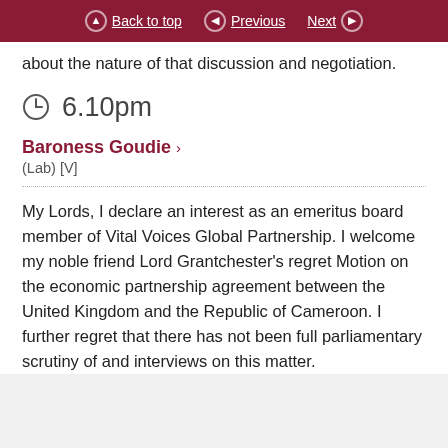Back to top | Previous | Next
about the nature of that discussion and negotiation.
6.10pm
Baroness Goudie ›
(Lab) [V]
My Lords, I declare an interest as an emeritus board member of Vital Voices Global Partnership. I welcome my noble friend Lord Grantchester's regret Motion on the economic partnership agreement between the United Kingdom and the Republic of Cameroon. I further regret that there has not been full parliamentary scrutiny of and interviews on this matter.